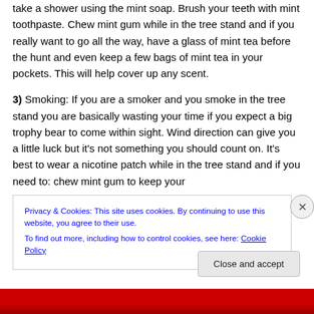take a shower using the mint soap. Brush your teeth with mint toothpaste. Chew mint gum while in the tree stand and if you really want to go all the way, have a glass of mint tea before the hunt and even keep a few bags of mint tea in your pockets. This will help cover up any scent.
3) Smoking: If you are a smoker and you smoke in the tree stand you are basically wasting your time if you expect a big trophy bear to come within sight. Wind direction can give you a little luck but it's not something you should count on. It's best to wear a nicotine patch while in the tree stand and if you need to: chew mint gum to keep your
Privacy & Cookies: This site uses cookies. By continuing to use this website, you agree to their use. To find out more, including how to control cookies, see here: Cookie Policy
Close and accept